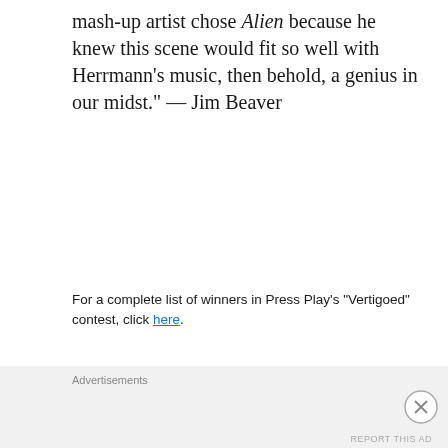mash-up artist chose Alien because he knew this scene would fit so well with Herrmann's music, then behold, a genius in our midst." — Jim Beaver
For a complete list of winners in Press Play's "Vertigoed" contest, click here.
[Figure (screenshot): Video player showing ALIEN "Vertigoed" by William D'Annucci with a player error message: 'The player is having trouble. We'll have it back up and']
Advertisements